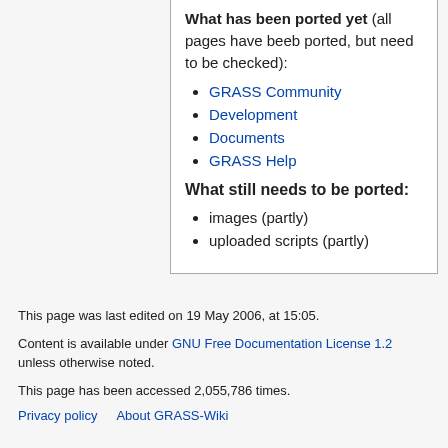What has been ported yet (all pages have beeb ported, but need to be checked):
GRASS Community
Development
Documents
GRASS Help
What still needs to be ported:
images (partly)
uploaded scripts (partly)
This page was last edited on 19 May 2006, at 15:05.
Content is available under GNU Free Documentation License 1.2 unless otherwise noted.
This page has been accessed 2,055,786 times.
Privacy policy   About GRASS-Wiki